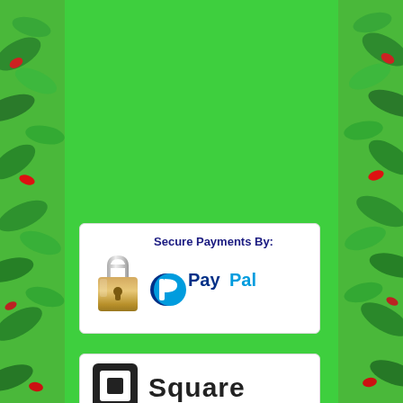[Figure (illustration): Green background with tropical foliage (red and green leaves) on left and right sides]
[Figure (logo): White badge with padlock icon and text 'Secure Payments By:' above PayPal logo (blue P icon with 'Pay' in dark blue and 'Pal' in light blue)]
[Figure (logo): White badge with Square payment logo (black square bracket icon) and 'Square' text in black]